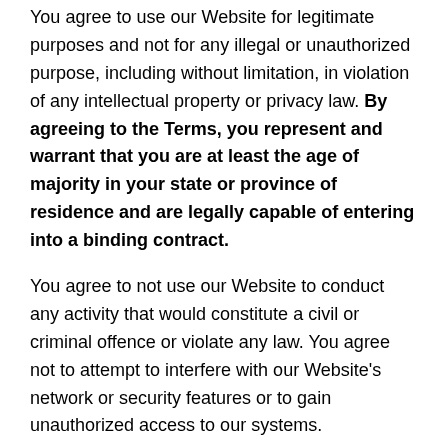You agree to use our Website for legitimate purposes and not for any illegal or unauthorized purpose, including without limitation, in violation of any intellectual property or privacy law. By agreeing to the Terms, you represent and warrant that you are at least the age of majority in your state or province of residence and are legally capable of entering into a binding contract.
You agree to not use our Website to conduct any activity that would constitute a civil or criminal offence or violate any law. You agree not to attempt to interfere with our Website's network or security features or to gain unauthorized access to our systems.
4. Accessing the Website, Electronic